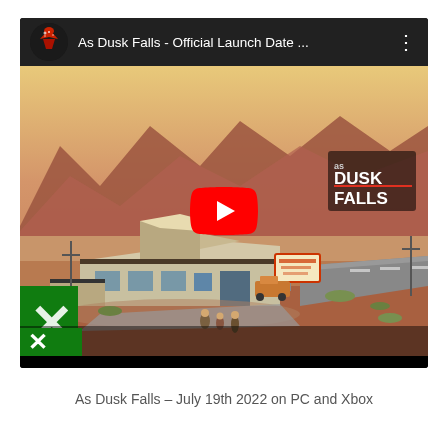[Figure (screenshot): YouTube video embed showing 'As Dusk Falls - Official Launch Date ...' with a desert motel scene thumbnail and a red play button overlay. The video title bar shows a circular game logo icon on the left, the video title text, and three vertical dots menu icon. An Xbox logo (green square with X) is visible in the lower-left of the thumbnail. The game logo 'AS DUSK FALLS' appears in the upper-right of the thumbnail.]
As Dusk Falls – July 19th 2022 on PC and Xbox